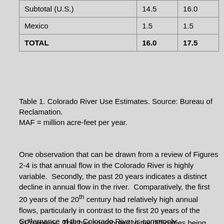|  | MAF | MAF |
| --- | --- | --- |
| Subtotal (U.S.) | 14.5 | 16.0 |
| Mexico | 1.5 | 1.5 |
| TOTAL | 16.0 | 17.5 |
Table 1. Colorado River Use Estimates. Source: Bureau of Reclamation.
MAF = million acre-feet per year.
One observation that can be drawn from a review of Figures 2-4 is that annual flow in the Colorado River is highly variable.  Secondly, the past 20 years indicates a distinct decline in annual flow in the river.  Comparatively, the first 20 years of the 20th century had relatively high annual flows, particularly in contrast to the first 20 years of the 21st century.  This has contributed to the difficulties being experienced today.
Governance of the Colorado River is commonly